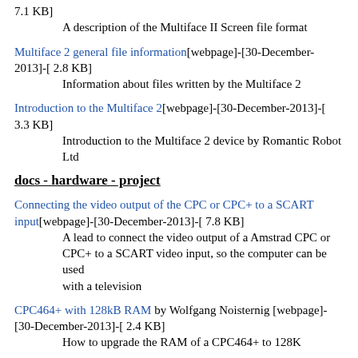7.1 KB]
    A description of the Multiface II Screen file format
Multiface 2 general file information[webpage]-[30-December-2013]-[ 2.8 KB]
    Information about files written by the Multiface 2
Introduction to the Multiface 2[webpage]-[30-December-2013]-[ 3.3 KB]
    Introduction to the Multiface 2 device by Romantic Robot Ltd
docs - hardware - project
Connecting the video output of the CPC or CPC+ to a SCART input[webpage]-[30-December-2013]-[ 7.8 KB]
    A lead to connect the video output of a Amstrad CPC or CPC+ to a SCART video input, so the computer can be used with a television
CPC464+ with 128kB RAM by Wolfgang Noisternig [webpage]-[30-December-2013]-[ 2.4 KB]
    How to upgrade the RAM of a CPC464+ to 128K
Cassette lead[webpage]-[30-December-2013]-[ 3.7 KB]